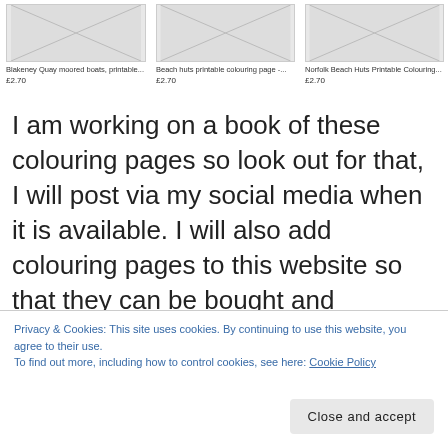[Figure (screenshot): Three product listing images: coloring page thumbnails of Blakeney Quay moored boats, Beach huts, and Norfolk Beach Huts, each priced at £2.70]
I am working on a book of these colouring pages so look out for that, I will post via my social media when it is available. I will also add colouring pages to this website so that they can be bought and downloaded directly. Eventually there will be more generic ones such as animals and flowers too. I have a huge number of images to trawl through to convert as I have been a photographer for many many years, so keep coming back for updates.
Privacy & Cookies: This site uses cookies. By continuing to use this website, you agree to their use.
To find out more, including how to control cookies, see here: Cookie Policy
[Figure (screenshot): Bottom row of thumbnail images (landscape photos)]